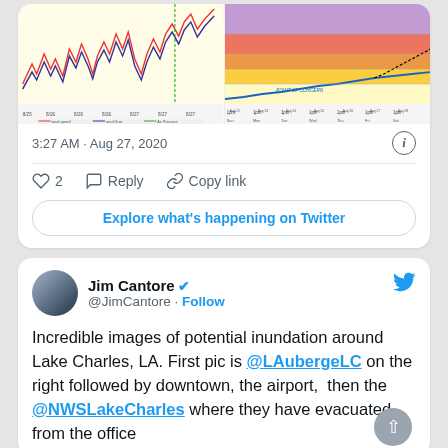[Figure (screenshot): Two weather charts side by side: left shows wind speed/gust data with red and blue zigzag lines over a yellow/cream background with legend; right shows a river stage/flood forecast chart with purple, red, orange, yellow bands and a blue observation line.]
3:27 AM · Aug 27, 2020
2  Reply  Copy link
Explore what's happening on Twitter
Jim Cantore @JimCantore · Follow
Incredible images of potential inundation around Lake Charles, LA. First pic is @LAubergeLC on the right followed by downtown, the airport,  then the @NWSLakeCharles where they have evacuated from the office